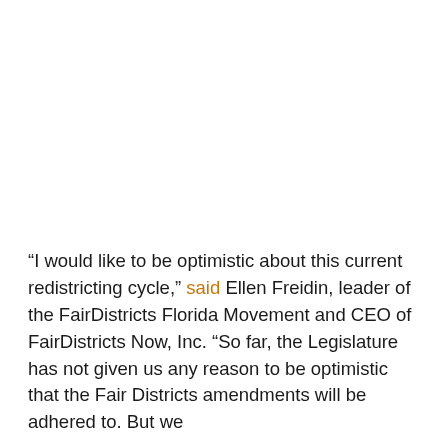“I would like to be optimistic about this current redistricting cycle,” said Ellen Freidin, leader of the FairDistricts Florida Movement and CEO of FairDistricts Now, Inc. “So far, the Legislature has not given us any reason to be optimistic that the Fair Districts amendments will be adhered to. But we